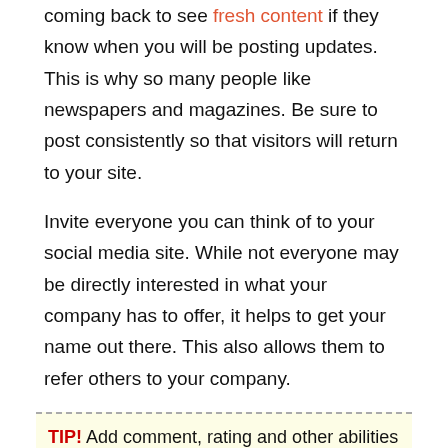Always post to your blogs often. Readers will keep coming back to see fresh content if they know when you will be posting updates. This is why so many people like newspapers and magazines. Be sure to post consistently so that visitors will return to your site.
Invite everyone you can think of to your social media site. While not everyone may be directly interested in what your company has to offer, it helps to get your name out there. This also allows them to refer others to your company.
TIP! Add comment, rating and other abilities to your site. By adding these things onto your site, users can decide what content is the most popular.
Update your social media site often. Most social network users expect updates as often as possible, and if you do